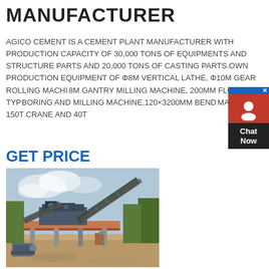MANUFACTURER
AGICO CEMENT IS A CEMENT PLANT MANUFACTURER WITH PRODUCTION CAPACITY OF 30,000 TONS OF EQUIPMENTS AND STRUCTURE PARTS AND 20,000 TONS OF CASTING PARTS.OWN PRODUCTION EQUIPMENT OF Φ8M VERTICAL LATHE, Φ10M GEAR ROLLING MACHINE, 8M GANTRY MILLING MACHINE, 200MM FLOOR-TYPE BORING AND MILLING MACHINE,120×3200MM BEND MACHINE, 150T CRANE AND 40T
GET PRICE
[Figure (photo): Industrial cement plant equipment showing conveyor belts, machinery and construction site outdoors]